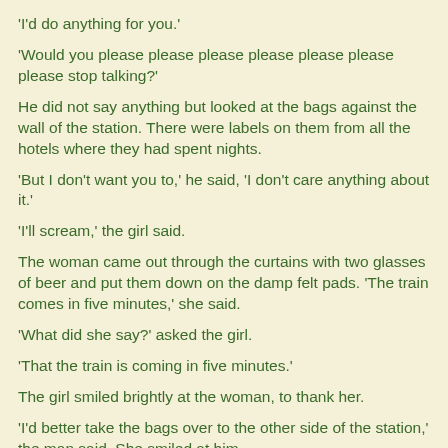'I'd do anything for you.'
'Would you please please please please please please please stop talking?'
He did not say anything but looked at the bags against the wall of the station. There were labels on them from all the hotels where they had spent nights.
'But I don't want you to,' he said, 'I don't care anything about it.'
'I'll scream,' the girl said.
The woman came out through the curtains with two glasses of beer and put them down on the damp felt pads. 'The train comes in five minutes,' she said.
'What did she say?' asked the girl.
'That the train is coming in five minutes.'
The girl smiled brightly at the woman, to thank her.
'I'd better take the bags over to the other side of the station,' the man said. She smiled at him.